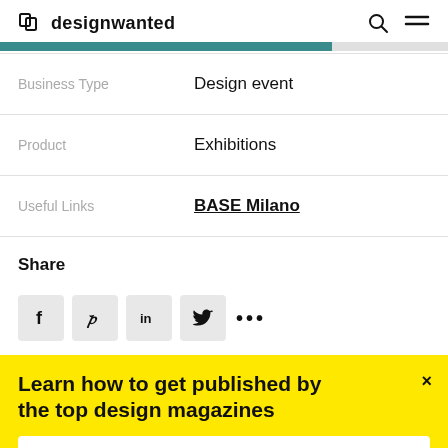designwanted
| Label | Value |
| --- | --- |
| Business Type | Design event |
| Product | Exhibitions |
| Useful Links | BASE Milano |
Share
[Figure (infographic): Social share buttons: Facebook, Pinterest, LinkedIn, Twitter, and more (...)]
Learn how to get published by the top design magazines
Get the E-book now →